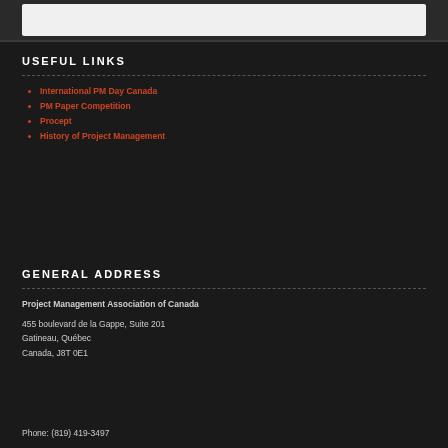USEFUL LINKS
International PM Day Canada
PM Paper Competition
Procept
History of Project Management
GENERAL ADDRESS
Project Management Association of Canada
455 boulevard de la Gappe, Suite 201
Gatineau, Québec
Canada, J8T 0E1
Phone: (819) 419-3497